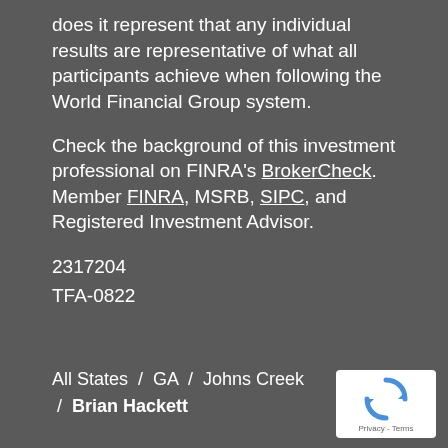does it represent that any individual results are representative of what all participants achieve when following the World Financial Group system.
Check the background of this investment professional on FINRA's BrokerCheck. Member FINRA, MSRB, SIPC, and Registered Investment Advisor.
2317204
TFA-0822
All States / GA / Johns Creek / Brian Hackett
[Figure (logo): reCAPTCHA logo with Privacy - Terms text below]